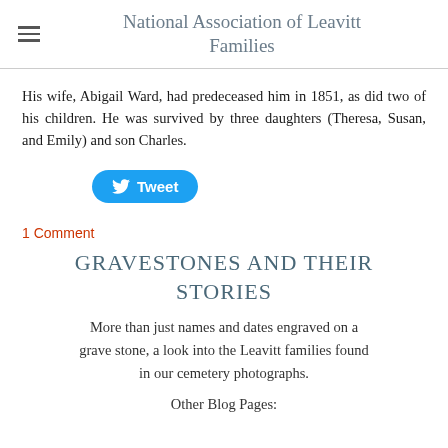National Association of Leavitt Families
His wife, Abigail Ward, had predeceased him in 1851, as did two of his children. He was survived by three daughters (Theresa, Susan, and Emily) and son Charles.
[Figure (other): Twitter Tweet button]
1 Comment
GRAVESTONES AND THEIR STORIES
More than just names and dates engraved on a grave stone, a look into the Leavitt families found in our cemetery photographs.
Other Blog Pages: